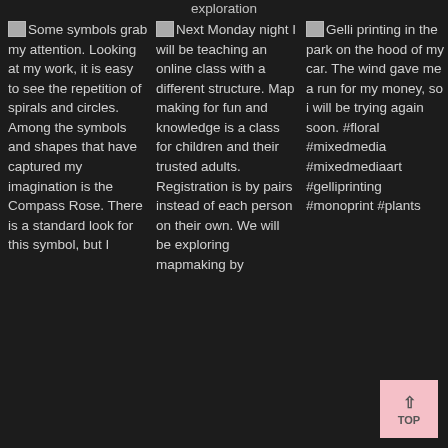exploration
Some symbols grab my attention. Looking at my work, it is easy to see the repetition of spirals and circles. Among the symbols and shapes that have captured my imagination is the Compass Rose. There is a standard look for this symbol, but I
Next Monday night I will be teaching an online class with a different structure. Map making for fun and knowledge is a class for children and their trusted adults. Registration is by pairs instead of each person on their own. We will be exploring mapmaking by
Gelli printing in the park on the hood of my car. The wind gave me a run for my money, so i will be trying again soon. #floral #mixedmedia #mixedmediaart #gelliprinting #monoprint #plants
[Figure (other): Pink 'TOP' back-to-top button with upward arrow]